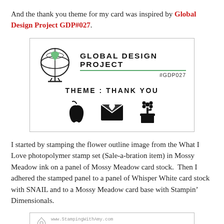And the thank you theme for my card was inspired by Global Design Project GDP#027.
[Figure (logo): Global Design Project badge with globe icon showing green heart, text 'GLOBAL DESIGN PROJECT', '#GDP027', 'THEME: THANK YOU', and three black icons: apple, envelope with heart, flower in pot]
I started by stamping the flower outline image from the What I Love photopolymer stamp set (Sale-a-bration item) in Mossy Meadow ink on a panel of Mossy Meadow card stock.  Then I adhered the stamped panel to a panel of Whisper White card stock with SNAIL and to a Mossy Meadow card base with Stampin’ Dimensionals.
[Figure (photo): Bottom of a stamping blog card image with website watermark text]